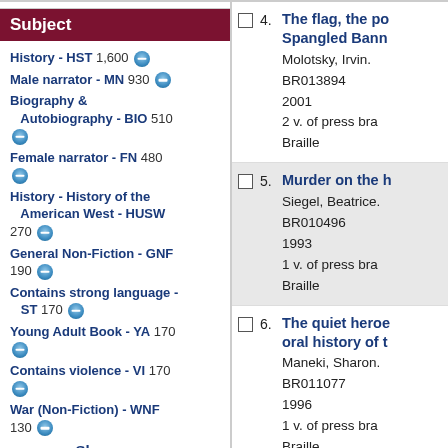Subject
History - HST 1,600
Male narrator - MN 930
Biography & Autobiography - BIO 510
Female narrator - FN 480
History - History of the American West - HUSW 270
General Non-Fiction - GNF 190
Contains strong language - ST 170
Young Adult Book - YA 170
Contains violence - VI 170
War (Non-Fiction) - WNF 130
Show more
4. The flag, the po... Spangled Bann...
Molotsky, Irvin.
BR013894
2001
2 v. of press bra...
Braille
5. Murder on the h...
Siegel, Beatrice.
BR010496
1993
1 v. of press bra...
Braille
6. The quiet heroe... oral history of t...
Maneki, Sharon.
BR011077
1996
1 v. of press bra...
Braille